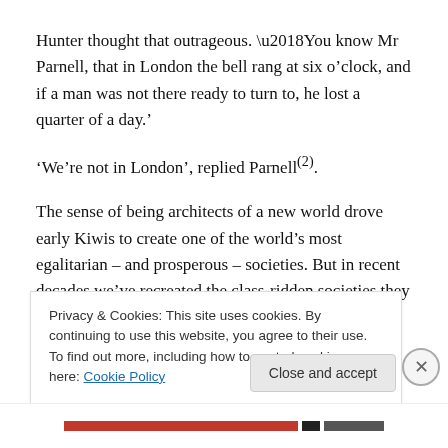Hunter thought that outrageous. ‘You know Mr Parnell, that in London the bell rang at six o’clock, and if a man was not there ready to turn to, he lost a quarter of a day.’
‘We’re not in London’, replied Parnell(2).
The sense of being architects of a new world drove early Kiwis to create one of the world’s most egalitarian – and prosperous – societies. But in recent decades we’ve recreated the class-ridden societies they escaped
Privacy & Cookies: This site uses cookies. By continuing to use this website, you agree to their use.
To find out more, including how to control cookies, see here: Cookie Policy
Close and accept